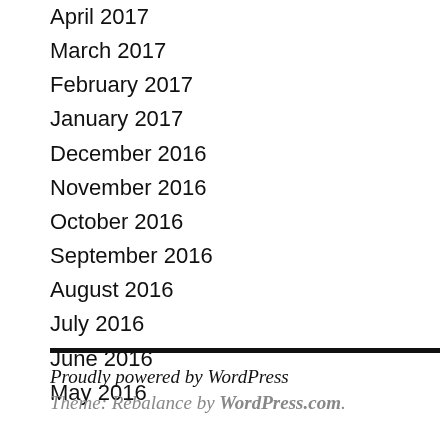April 2017
March 2017
February 2017
January 2017
December 2016
November 2016
October 2016
September 2016
August 2016
July 2016
June 2016
May 2016
Proudly powered by WordPress
Theme: Rebalance by WordPress.com.